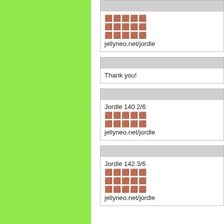[Figure (illustration): Large green panel on the left side of the page]
🟫🟫🟫🟫🟫
🟫🟫🟫🟫🟫
🟫🟫🟫🟫🟫
jellyneo.net/jordle
Thank you!
Jordle 140 2/6
🟫🟫🟫🟫🟫
🟫🟫🟫🟫🟫
jellyneo.net/jordle
Jordle 142 3/6
🟫🟫🟫🟫🟫
🟫🟫🟫🟫🟫
🟫🟫🟫🟫🟫
jellyneo.net/jordle